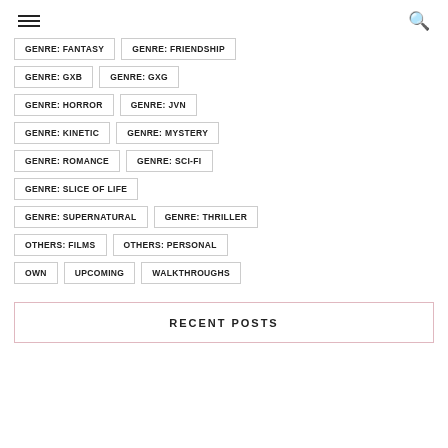☰ 🔍
GENRE: FANTASY
GENRE: FRIENDSHIP
GENRE: GXB
GENRE: GXG
GENRE: HORROR
GENRE: JVN
GENRE: KINETIC
GENRE: MYSTERY
GENRE: ROMANCE
GENRE: SCI-FI
GENRE: SLICE OF LIFE
GENRE: SUPERNATURAL
GENRE: THRILLER
OTHERS: FILMS
OTHERS: PERSONAL
OWN
UPCOMING
WALKTHROUGHS
RECENT POSTS